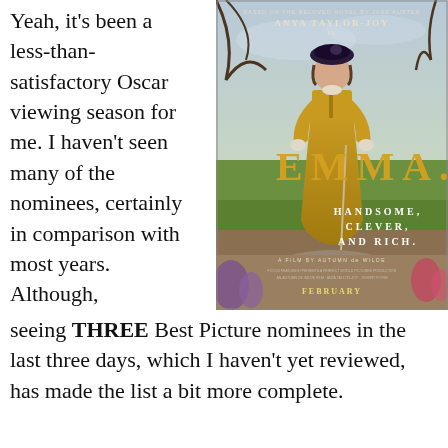Yeah, it's been a less-than-satisfactory Oscar viewing season for me. I haven't seen many of the nominees, certainly in comparison with most years. Although,
[Figure (photo): Movie poster for 'Emma.' (2020) featuring Anya Taylor-Joy in a mustard yellow dress against a pastoral English countryside background. Text on poster reads: 'Based on the beloved novel by Jane Austen. Anya Taylor-Joy in Emma. Handsome, Clever, And Rich. A Film by Autumn de Wilde. February.']
seeing THREE Best Picture nominees in the last three days, which I haven't yet reviewed, has made the list a bit more complete.